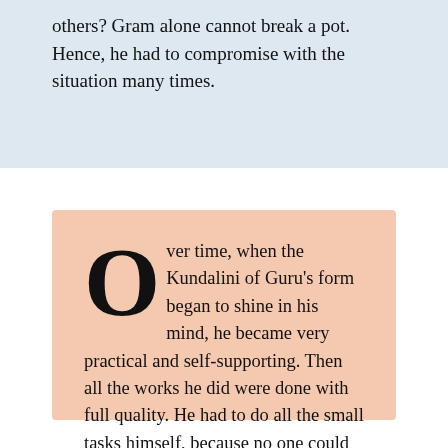others? Gram alone cannot break a pot. Hence, he had to compromise with the situation many times.
Over time, when the Kundalini of Guru's form began to shine in his mind, he became very practical and self-supporting. Then all the works he did were done with full quality. He had to do all the small tasks himself, because no one could understand his fine and deep eyes. When people saw his miraculous results, then people came to know the reality, and they started praising him.